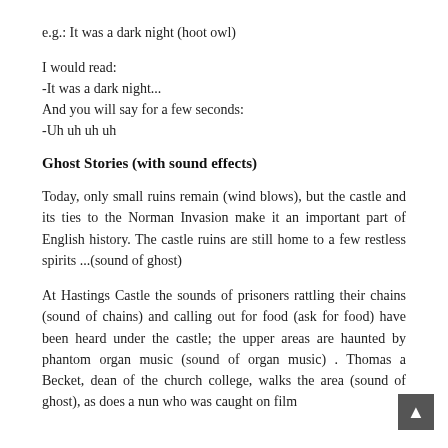e.g.: It was a dark night (hoot owl)
I would read:
-It was a dark night...
And you will say for a few seconds:
-Uh uh uh uh
Ghost Stories (with sound effects)
Today, only small ruins remain (wind blows), but the castle and its ties to the Norman Invasion make it an important part of English history. The castle ruins are still home to a few restless spirits ...(sound of ghost)
At Hastings Castle the sounds of prisoners rattling their chains (sound of chains) and calling out for food (ask for food) have been heard under the castle; the upper areas are haunted by phantom organ music (sound of organ music) . Thomas a Becket, dean of the church college, walks the area (sound of ghost), as does a nun who was caught on film